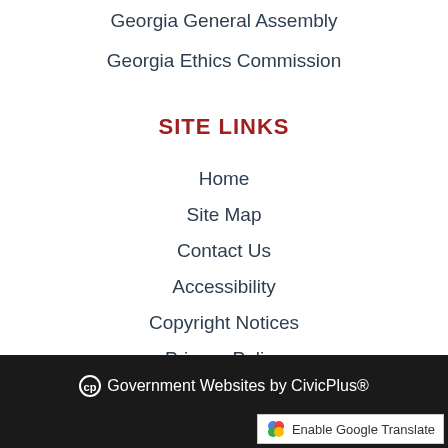Georgia General Assembly
Georgia Ethics Commission
SITE LINKS
Home
Site Map
Contact Us
Accessibility
Copyright Notices
Privacy Policy
Government Websites by CivicPlus®  Enable Google Translate